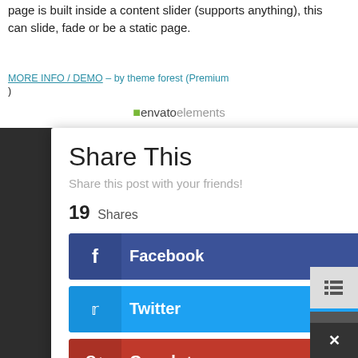page is built inside a content slider (supports anything), this can slide, fade or be a static page.
MORE INFO / DEMO – by theme forest (Premium
)
[Figure (logo): Envato Elements logo with leaf icon]
[Figure (screenshot): Share This modal dialog with social share buttons for Facebook, Twitter, Google+, Pinterest. Shows 19 Shares total.]
Share This
Share this post with your friends!
19 Shares
Facebook
Twitter
Google+
Pinterest